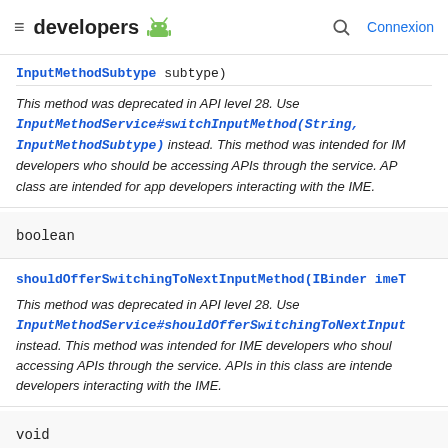≡ developers 🤖  🔍 Connexion
InputMethodSubtype subtype)
This method was deprecated in API level 28. Use InputMethodService#switchInputMethod(String, InputMethodSubtype) instead. This method was intended for IME developers who should be accessing APIs through the service. APIs in this class are intended for app developers interacting with the IME.
boolean
shouldOfferSwitchingToNextInputMethod(IBinder imeT
This method was deprecated in API level 28. Use InputMethodService#shouldOfferSwitchingToNextInput instead. This method was intended for IME developers who should be accessing APIs through the service. APIs in this class are intended for app developers interacting with the IME.
void